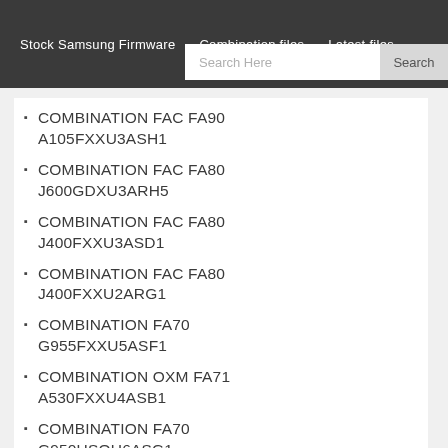Stock Samsung Firmware   Combination files   Latest files
COMBINATION FAC FA90 A105FXXU3ASH1
COMBINATION FAC FA80 J600GDXU3ARH5
COMBINATION FAC FA80 J400FXXU3ASD1
COMBINATION FAC FA80 J400FXXU2ARG1
COMBINATION FA70 G955FXXU5ASF1
COMBINATION OXM FA71 A530FXXU4ASB1
COMBINATION FA70 G950USQU6ASG1